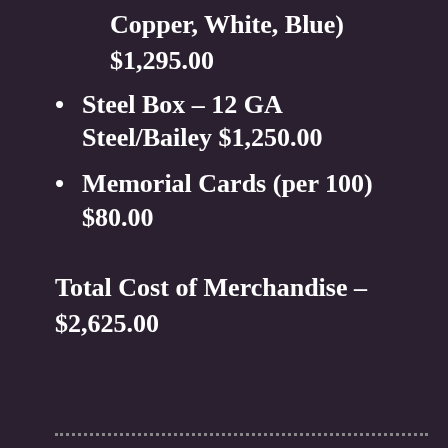Copper, White, Blue)
$1,295.00
Steel Box – 12 GA Steel/Bailey $1,250.00
Memorial Cards (per 100) $80.00
Total Cost of Merchandise – $2,625.00